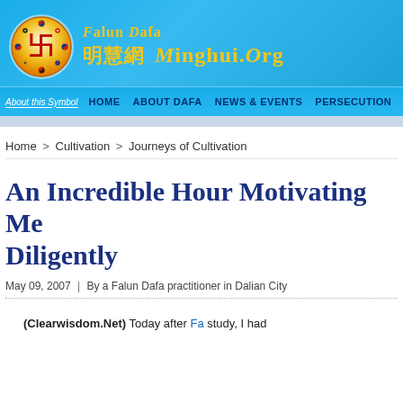[Figure (logo): Falun Dafa Minghui.org website header with circular logo showing the Falun symbol on orange/red background, site title in gold text on blue background]
HOME  ABOUT DAFA  NEWS & EVENTS  PERSECUTION
Home > Cultivation > Journeys of Cultivation
An Incredible Hour Motivating Me to Practice Diligently
May 09, 2007 | By a Falun Dafa practitioner in Dalian City
(Clearwisdom.Net) Today after Fa study, I had